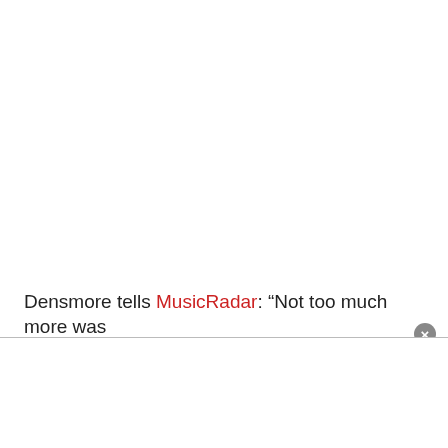Densmore tells MusicRadar: “Not too much more was planned at the time… we didn’t have too far to go on…